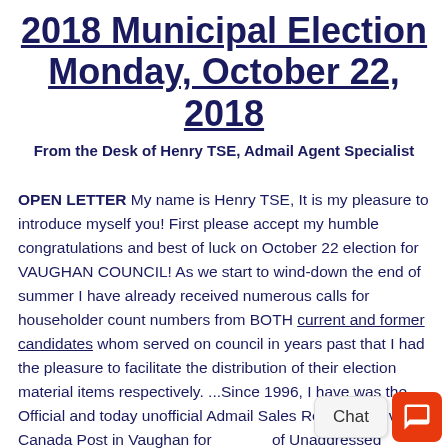2018 Municipal Election Monday, October 22, 2018
From the Desk of Henry TSE, Admail Agent Specialist
OPEN LETTER My name is Henry TSE, It is my pleasure to introduce myself you! First please accept my humble congratulations and best of luck on October 22 election for VAUGHAN COUNCIL! As we start to wind-down the end of summer I have already received numerous calls for householder count numbers from BOTH current and former candidates whom served on council in years past that I had the pleasure to facilitate the distribution of their election material items respectively. ...Since 1996, I have was the Official and today unofficial Admail Sales Representative of Canada Post in Vaughan for [Chat widget obscures] Unaddressed Admail (flyers distribution) until [Chat widget obscures] our program in 2003 for which I continue to offer my value added